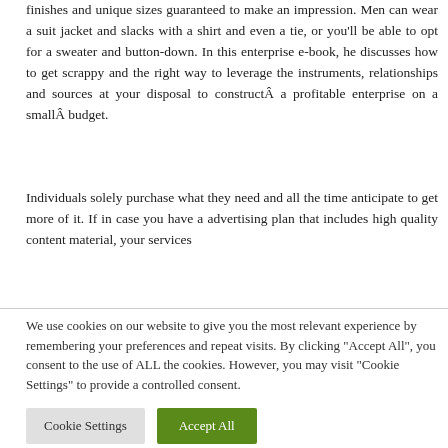finishes and unique sizes guaranteed to make an impression. Men can wear a suit jacket and slacks with a shirt and even a tie, or you'll be able to opt for a sweater and button-down. In this enterprise e-book, he discusses how to get scrappy and the right way to leverage the instruments, relationships and sources at your disposal to constructÂ a profitable enterprise on a smallÂ budget.
Individuals solely purchase what they need and all the time anticipate to get more of it. If in case you have a advertising plan that includes high quality content material, your services
We use cookies on our website to give you the most relevant experience by remembering your preferences and repeat visits. By clicking "Accept All", you consent to the use of ALL the cookies. However, you may visit "Cookie Settings" to provide a controlled consent.